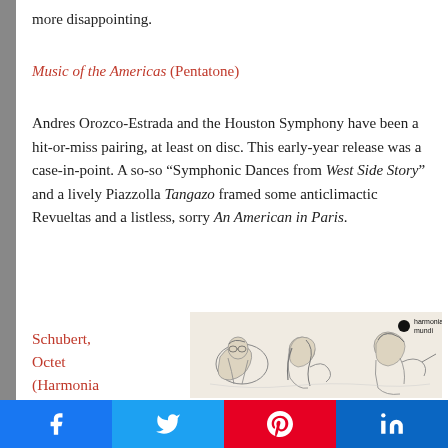more disappointing.
Music of the Americas (Pentatone)
Andres Orozco-Estrada and the Houston Symphony have been a hit-or-miss pairing, at least on disc. This early-year release was a case-in-point. A so-so “Symphonic Dances from West Side Story” and a lively Piazzolla Tangazo framed some anticlimactic Revueltas and a listless, sorry An American in Paris.
Schubert, Octet (Harmonia
[Figure (illustration): Album cover for Schubert Octet on Harmonia Mundi label, showing pencil sketch of musicians playing instruments, with Harmonia Mundi logo in top right corner]
Share buttons: Facebook, Twitter, Pinterest, LinkedIn